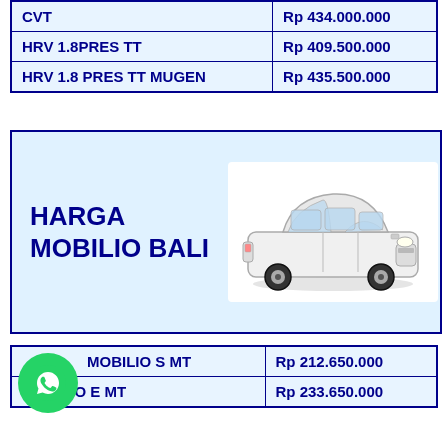| Model | Price |
| --- | --- |
| CVT | Rp 434.000.000 |
| HRV 1.8PRES TT | Rp 409.500.000 |
| HRV 1.8 PRES TT MUGEN | Rp 435.500.000 |
[Figure (illustration): HARGA MOBILIO BALI banner with a white Honda Mobilio car image on the right side]
| Model | Price |
| --- | --- |
| MOBILIO S MT | Rp 212.650.000 |
| MOBILIO E MT | Rp 233.650.000 |